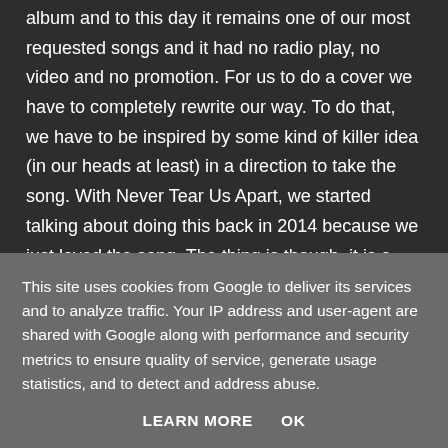album and to this day it remains one of our most requested songs and it had no radio play, no video and no promotion. For us to do a cover we have to completely rewrite our way. To do that, we have to be inspired by some kind of killer idea (in our heads at least) in a direction to take the song. With Never Tear Us Apart, we started talking about doing this back in 2014 because we just loved the song. The thing is though, it is a very romantic and major scale type of sound. So yeah, there was no way we were doing this unless it was completely redone. I heard it in my head a certain way and rewrote the song in a minor key with crushing guitars and accordion added in. Once I showed Jaboo the approach, he was on board and we tracked it and fell in love with our
This site uses cookies from Google to deliver its services and to analyze traffic. Your IP address and user-agent are shared with Google along with performance and security metrics to ensure quality of service, generate usage statistics, and to detect and address abuse.
LEARN MORE    OK